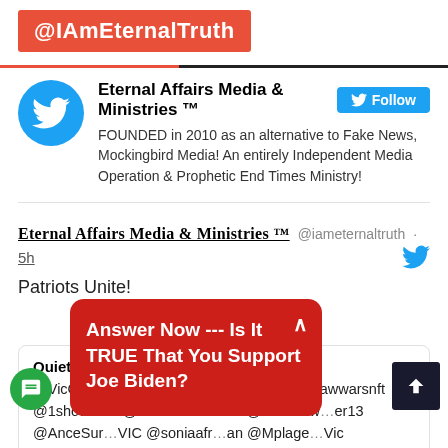@IAmEternalTruth
Eternal Affairs Media & Ministries ™
FOUNDED in 2010 as an alternative to Fake News, Mockingbird Media! An entirely Independent Media Operation & Prophetic End Times Ministry!
Eternal Affairs Media & Ministries ™ @iameternaltruth · 5h
Patriots Unite!
QuietStrenght @QuietStrenght
@VicCervantes3 @dbfortn @mnqbi4real @rawwarsnft @1shotannie @IAmEternalTruth @Hacksaw...er13 @AnceSur...VIC @soniaafr...an @Mplage...Vic
Answer Now --- Is It TRUE That You Support Joe Biden?